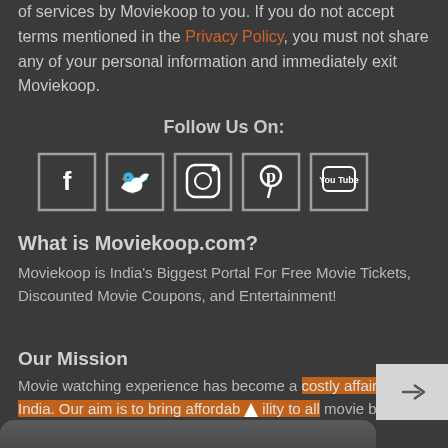of services by Moviekoop to you. If you do not accept terms mentioned in the Privacy Policy, you must not share any of your personal information and immediately exit Moviekoop.
Follow Us On:
[Figure (infographic): Five social media icon buttons in square outlines: Facebook (f), Twitter (bird), Instagram (camera), Pinterest (P), YouTube (tube)]
What is Moviekoop.com?
Moviekoop is India's Biggest Portal For Free Movie Tickets, Discounted Movie Coupons, and Entertainment!
Our Mission
Movie watching experience has become a costly affair in India. Our aim is to bring affordability to all movie buffs so that they can watch more movies.